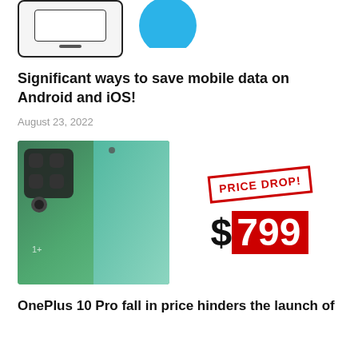[Figure (illustration): Top section showing a phone outline illustration on left and a blue circle on right]
Significant ways to save mobile data on Android and iOS!
August 23, 2022
[Figure (photo): Left: OnePlus 10 Pro phone in green color. Right: Price drop graphic showing 'PRICE DROP!' stamp and $799 price in red box.]
OnePlus 10 Pro fall in price hinders the launch of